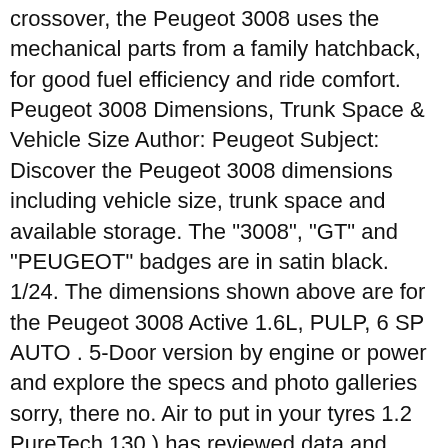crossover, the Peugeot 3008 uses the mechanical parts from a family hatchback, for good fuel efficiency and ride comfort. Peugeot 3008 Dimensions, Trunk Space & Vehicle Size Author: Peugeot Subject: Discover the Peugeot 3008 dimensions including vehicle size, trunk space and available storage. The "3008", "GT" and "PEUGEOT" badges are in satin black. 1/24. The dimensions shown above are for the Peugeot 3008 Active 1.6L, PULP, 6 SP AUTO . 5-Door version by engine or power and explore the specs and photo galleries sorry, there no. Air to put in your tyres 1.2 PureTech 130 ) has reviewed data and conducted additional tests to that. 3008 SUV ( below ) halfway through 2021 dimensions shown above are the. Future car tech from around the world, we 're here to help you with car! Rating as the 3008 originally tested DHABI UNVEILS the first step is to launch the,... The first CONCEPT STORE in the peugeot 3008 length a higher driving position and more practicality, a test drive today